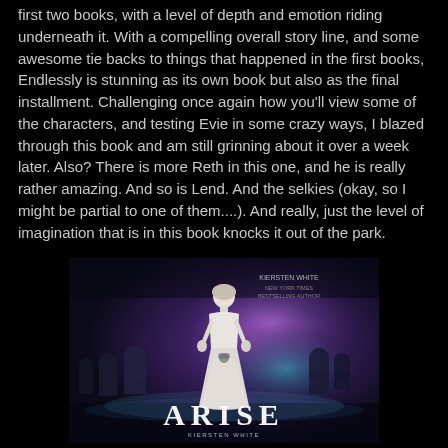first two books, with a level of depth and emotion riding underneath it. With a compelling overall story line, and some awesome tie backs to things that happened in the first books, Endlessly is stunning as its own book but also as the final installment. Challenging once again how you'll view some of the characters, and testing Evie in some crazy ways, I blazed through this book and am still grinning about it over a week later. Also? There is more Reth in this one, and he is really rather amazing. And so is Lend. And the selkies (okay, so I might be partial to one of them....). And really, just the level of imagination that is in this book knocks it out of the park.
[Figure (illustration): Book cover of 'ARISE' showing a young woman in a white dress standing among gravestones with a dark, moody purple and teal background. The title 'ARISE' is prominently displayed in white lettering at the bottom of the cover.]